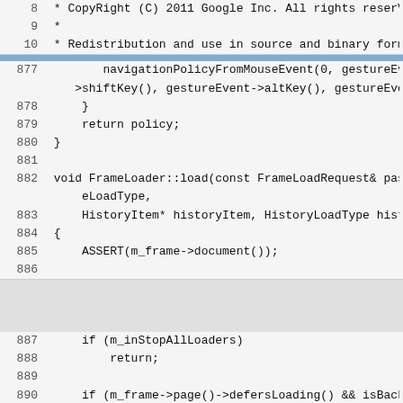Code viewer lines 8-10: copyright header
Code viewer lines 877-886: navigationPolicyFromMouseEvent and FrameLoader::load function
Code viewer lines 887-893: if (m_inStopAllLoaders) return; if (m_frame->page()->defersLoading() && isBackForwa...) { m_deferredHistoryLoad = DeferredHistoryLoad::cr ceRequest(), historyItem, frameLoadType, historyLoadTyp return; }
Chromium Code Reviews has been turned down in favor of Chromium Gerrit. This page was archived in December 2020.